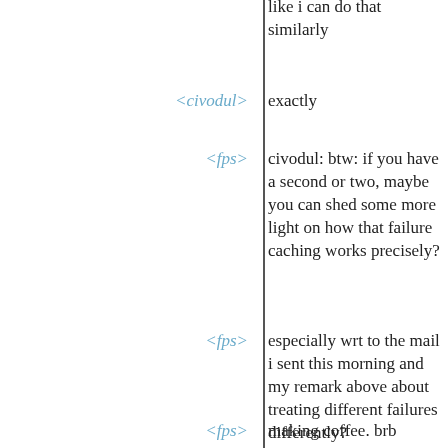like i can do that similarly
<civodul> exactly
<fps> civodul: btw: if you have a second or two, maybe you can shed some more light on how that failure caching works precisely?
<fps> especially wrt to the mail i sent this morning and my remark above about treating different failures differently?
<fps> making coffee. brb